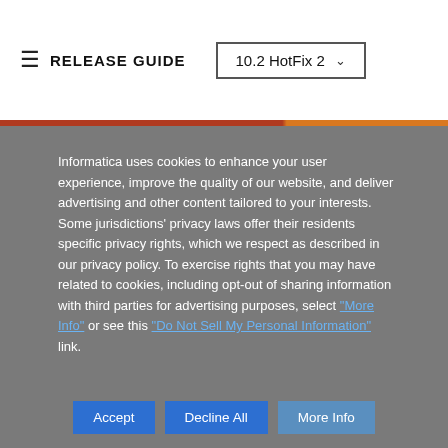RELEASE GUIDE  10.2 HotFix 2
Informatica uses cookies to enhance your user experience, improve the quality of our website, and deliver advertising and other content tailored to your interests. Some jurisdictions' privacy laws offer their residents specific privacy rights, which we respect as described in our privacy policy. To exercise rights that you may have related to cookies, including opt-out of sharing information with third parties for advertising purposes, select "More Info" or see this "Do Not Sell My Personal Information" link.